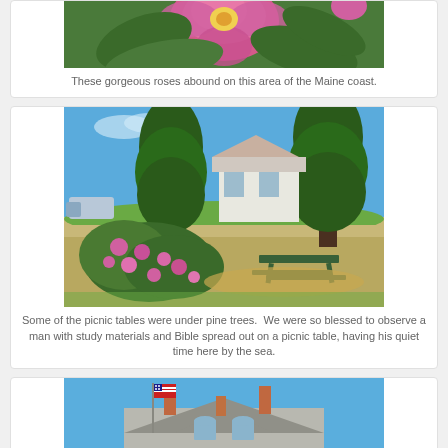[Figure (photo): Close-up of pink roses with green leaves on Maine coast]
These gorgeous roses abound on this area of the Maine coast.
[Figure (photo): Park scene with pine trees, picnic table, pink rose bushes, and a white house/building in background under blue sky]
Some of the picnic tables were under pine trees.  We were so blessed to observe a man with study materials and Bible spread out on a picnic table, having his quiet time here by the sea.
[Figure (photo): Building with American flag and blue sky, partial view showing rooftop and upper story windows]